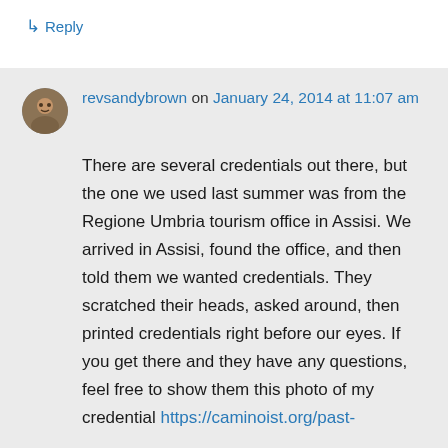↳ Reply
revsandybrown on January 24, 2014 at 11:07 am
There are several credentials out there, but the one we used last summer was from the Regione Umbria tourism office in Assisi. We arrived in Assisi, found the office, and then told them we wanted credentials. They scratched their heads, asked around, then printed credentials right before our eyes. If you get there and they have any questions, feel free to show them this photo of my credential https://caminoist.org/past-